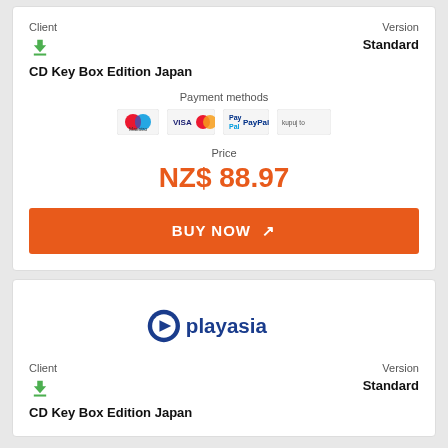Client
Version
Standard
CD Key Box Edition Japan
Payment methods
[Figure (other): Payment method icons: Maestro, Visa/Mastercard, PayPal, and another payment provider]
Price
NZ$ 88.97
BUY NOW
[Figure (logo): Playasia logo — blue icon with play button and text 'playasia']
Client
Version
Standard
CD Key Box Edition Japan